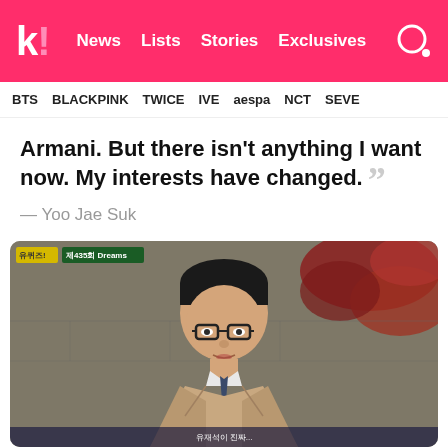k! News Lists Stories Exclusives
BTS BLACKPINK TWICE IVE aespa NCT SEVE
Armani. But there isn't anything I want now. My interests have changed. ””
— Yoo Jae Suk
[Figure (photo): TV screenshot of Yoo Jae Suk on variety show Yu Quiz (유 퀴즈), episode 435 'Dreams'. He is wearing glasses, a beige trench coat, and a tie, speaking in front of an ivy-covered stone wall. Overlaid TV graphics show the show logo and episode title in Korean.]